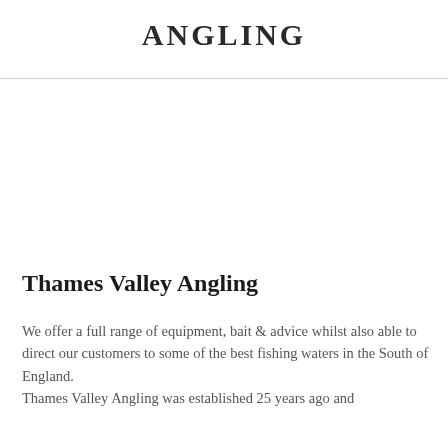ANGLING
Thames Valley Angling
We offer a full range of equipment, bait & advice whilst also able to direct our customers to some of the best fishing waters in the South of England. Thames Valley Angling was established 25 years ago and